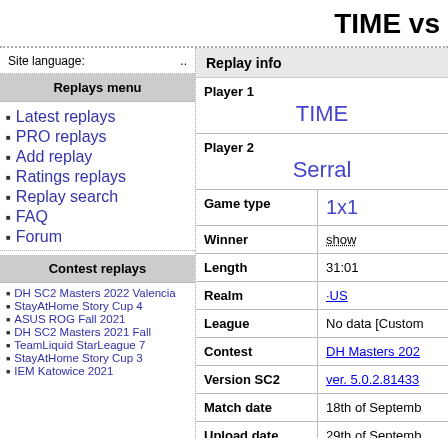TIME vs
Site language: ..
Replays menu
Latest replays
PRO replays
Add replay
Ratings replays
Replay search
FAQ
Forum
Contest replays
DH SC2 Masters 2022 Valencia
StayAtHome Story Cup 4
ASUS ROG Fall 2021
DH SC2 Masters 2021 Fall
TeamLiquid StarLeague 7
StayAtHome Story Cup 3
Replay info
| Field | Value |
| --- | --- |
| Player 1 | TIME |
| Player 2 | Serral |
| Game type | 1x1 |
| Winner | show |
| Length | 31:01 |
| Realm | ·US |
| League | No data [Custom |
| Contest | DH Masters 202 |
| Version SC2 | ver. 5.0.2.81433 |
| Match date | 18th of Septemb |
| Upload date | 29th of Septemb |